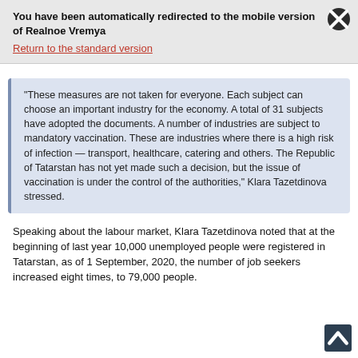You have been automatically redirected to the mobile version of Realnoe Vremya
Return to the standard version
"These measures are not taken for everyone. Each subject can choose an important industry for the economy. A total of 31 subjects have adopted the documents. A number of industries are subject to mandatory vaccination. These are industries where there is a high risk of infection — transport, healthcare, catering and others. The Republic of Tatarstan has not yet made such a decision, but the issue of vaccination is under the control of the authorities," Klara Tazetdinova stressed.
Speaking about the labour market, Klara Tazetdinova noted that at the beginning of last year 10,000 unemployed people were registered in Tatarstan, as of 1 September, 2020, the number of job seekers increased eight times, to 79,000 people.